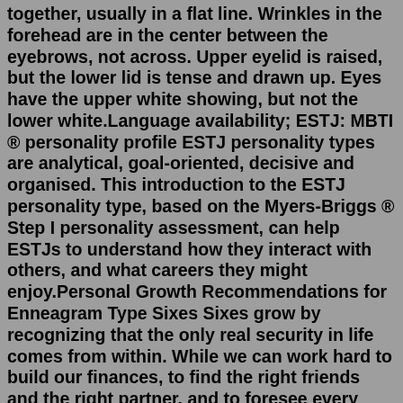together, usually in a flat line. Wrinkles in the forehead are in the center between the eyebrows, not across. Upper eyelid is raised, but the lower lid is tense and drawn up. Eyes have the upper white showing, but not the lower white.Language availability; ESTJ: MBTI ® personality profile ESTJ personality types are analytical, goal-oriented, decisive and organised. This introduction to the ESTJ personality type, based on the Myers-Briggs ® Step I personality assessment, can help ESTJs to understand how they interact with others, and what careers they might enjoy.Personal Growth Recommendations for Enneagram Type Sixes Sixes grow by recognizing that the only real security in life comes from within. While we can work hard to build our finances, to find the right friends and the right partner, and to foresee every possible mishap, ultimately, none of the external structures that we use to give ourselves ...associations were flagged for moderate significance, the overall association between love language and Enneagram type was statistically insignificant (p <.05;x. 2